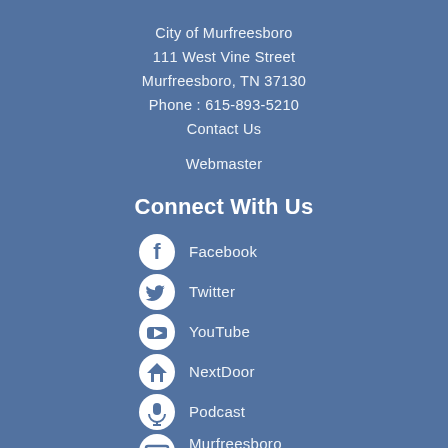City of Murfreesboro
111 West Vine Street
Murfreesboro, TN 37130
Phone : 615-893-5210
Contact Us
Webmaster
Connect With Us
Facebook
Twitter
YouTube
NextDoor
Podcast
Murfreesboro CityTV